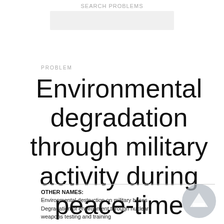Search Problems
[Figure (other): Search input box, light gray rounded rectangle]
PROBLEM
Environmental degradation through military activity during peace-time
OTHER NAMES:
Environmental destruction on military bases
Degradation of environment through nuclear weapons testing and training
[Figure (illustration): Circular back/up navigation button with mountain icon, gray]